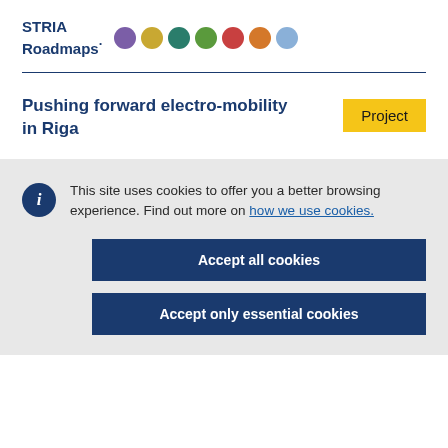STRIA Roadmaps
Pushing forward electro-mobility in Riga
Project
This site uses cookies to offer you a better browsing experience. Find out more on how we use cookies.
Accept all cookies
Accept only essential cookies